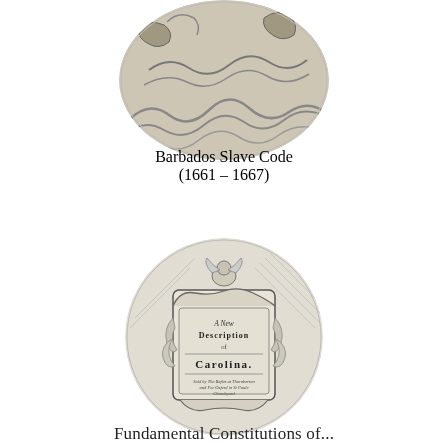[Figure (illustration): Circular cropped historical map or engraving showing decorative cartouche with sea creatures, waves, and animals — upper portion of a circular historical illustration]
Barbados Slave Code
(1661 – 1667)
[Figure (illustration): Circular cropped historical engraving showing an ornate cartouche titled 'A New Description of Carolina' with baroque decorative elements, cherubs, and foliage]
Fundamental Constitutions of...